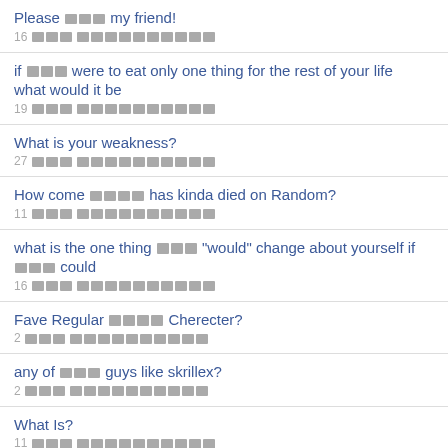Please ░░░ my friend! | 16 ░░░ ░░░░░░░░░░
if ░░░ were to eat only one thing for the rest of your life what would it be | 19 ░░░ ░░░░░░░░░░
What is your weakness? | 27 ░░░ ░░░░░░░░░░
How come ░░░░ has kinda died on Random? | 11 ░░░ ░░░░░░░░░░
what is the one thing ░░░ "would" change about yourself if ░░░ could | 16 ░░░ ░░░░░░░░░░
Fave Regular ░░░░ Cherecter? | 2 ░░░ ░░░░░░░░░░
any of ░░░ guys like skrillex? | 2 ░░░ ░░░░░░░░░░
What Is? | 11 ░░░ ░░░░░░░░░░
Do ░░░ like trolls sometimes? | 6 ░░░ ░░░░░░░░░░